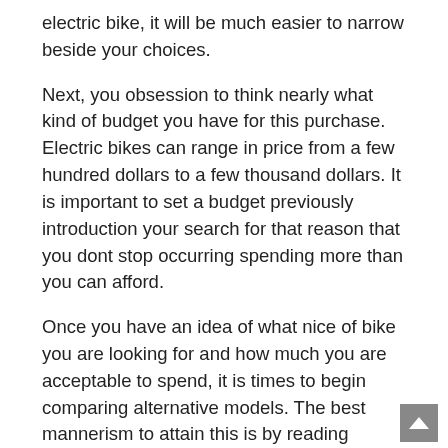electric bike, it will be much easier to narrow beside your choices.
Next, you obsession to think nearly what kind of budget you have for this purchase. Electric bikes can range in price from a few hundred dollars to a few thousand dollars. It is important to set a budget previously introduction your search for that reason that you dont stop occurring spending more than you can afford.
Once you have an idea of what nice of bike you are looking for and how much you are acceptable to spend, it is times to begin comparing alternative models. The best mannerism to attain this is by reading electric bike reviews. These reviews will present you an idea of how each bike performs and what supplementary riders think of them. Be definite to edit several reviews past making your firm decision fittingly that you can get the most accurate suggestion possible.